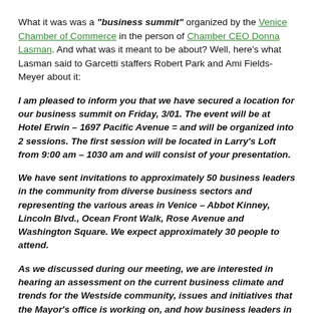What it was was a "business summit" organized by the Venice Chamber of Commerce in the person of Chamber CEO Donna Lasman. And what was it meant to be about? Well, here's what Lasman said to Garcetti staffers Robert Park and Ami Fields-Meyer about it:
I am pleased to inform you that we have secured a location for our business summit on Friday, 3/01. The event will be at Hotel Erwin – 1697 Pacific Avenue = and will be organized into 2 sessions. The first session will be located in Larry's Loft from 9:00 am – 1030 am and will consist of your presentation.
We have sent invitations to approximately 50 business leaders in the community from diverse business sectors and representing the various areas in Venice – Abbot Kinney, Lincoln Blvd., Ocean Front Walk, Rose Avenue and Washington Square. We expect approximately 30 people to attend.
As we discussed during our meeting, we are interested in hearing an assessment on the current business climate and trends for the Westside community, issues and initiatives that the Mayor's office is working on, and how business leaders in Venice can partner with the Mayor's office to work on